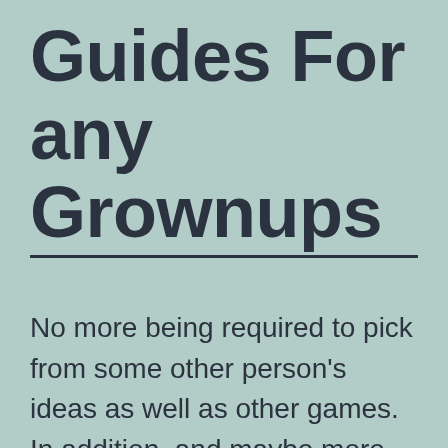Guides For any Grownups
No more being required to pick from some other person's ideas as well as other games. In addition, and maybe more essential, you'll be able to repairs old also damaged boots, extremely protecting a fortune around long